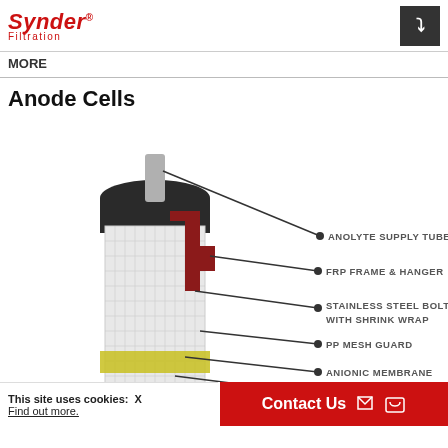Synder Filtration
MORE
Anode Cells
[Figure (engineering-diagram): Labeled diagram of an Anode Cell component showing: ANOLYTE SUPPLY TUBE, FRP FRAME & HANGER, STAINLESS STEEL BOLTS WITH SHRINK WRAP, PP MESH GUARD, ANIONIC MEMBRANE, ANOLYTE SOLUTION, SS31 (partially visible)]
This site uses cookies: X
Find out more.
Contact Us